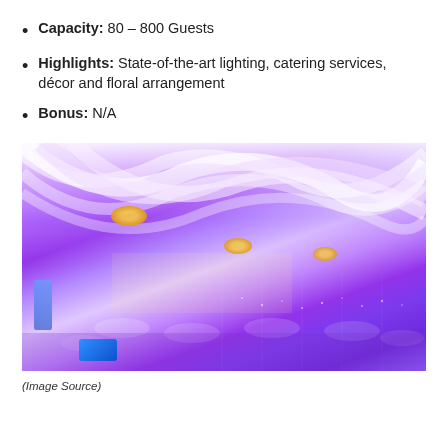Capacity: 80 – 800 Guests
Highlights: State-of-the-art lighting, catering services, décor and floral arrangement
Bonus: N/A
[Figure (photo): Interior of an event venue with white draped fabric ceiling, purple uplighting, pendant lights, round tables with white linens and chairs, and a blue pillow/cushion on the floor in the foreground.]
(Image Source)